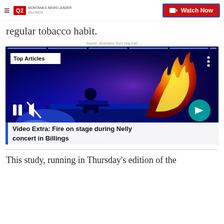Q2 Montana's News Leader | Watch Now
regular tobacco habit.
Source: illustration from bing.com
[Figure (screenshot): Video player showing a concert stage with fire on stage and a performer. Shows 'Top Articles' badge, progress bar segments, pause and mute controls, a teal next arrow button, and title overlay 'Video Extra: Fire on stage during Nelly concert in Billings']
This study, running in Thursday's edition of the